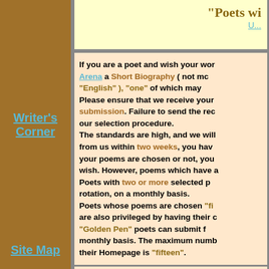"Poets wi... U...
If you are a poet and wish your wor... Arena a Short Biography ( not mo... "English" ), "one" of which may... Please ensure that we receive your... submission. Failure to send the re... our selection procedure. The standards are high, and we will... from us within two weeks, you hav... your poems are chosen or not, you... wish. However, poems which have a... Poets with two or more selected p... rotation, on a monthly basis. Poets whose poems are chosen "fi... are also privileged by having their c... "Golden Pen" poets can submit f... monthly basis. The maximum numb... their Homepage is "fifteen".
Writer's Corner
Site Map
The poets will ap...